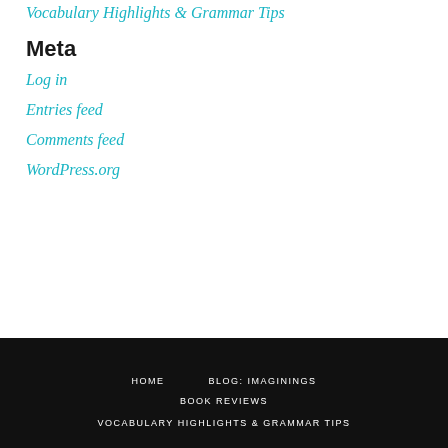Vocabulary Highlights & Grammar Tips
Meta
Log in
Entries feed
Comments feed
WordPress.org
HOME   BLOG: IMAGININGS   BOOK REVIEWS   VOCABULARY HIGHLIGHTS & GRAMMAR TIPS